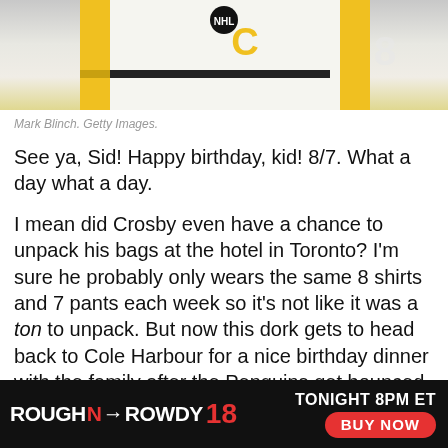[Figure (photo): Cropped photo of an NHL player in a white jersey with yellow/gold accents and a 'C' captain patch, NHL logo visible at top]
Mark Blinch. Getty Images.
See ya, Sid! Happy birthday, kid! 8/7. What a day what a day.
I mean did Crosby even have a chance to unpack his bags at the hotel in Toronto? I'm sure he probably only wears the same 8 shirts and 7 pants each week so it's not like it was a ton to unpack. But now this dork gets to head back to Cole Harbour for a nice birthday dinner with the family after the Penguins get bounced from the bubble. Sure do hate to see it. And a shutout no less. Whole...n't even e...ys a
[Figure (infographic): Advertisement banner: ROUGH N ROWDY 18 TONIGHT 8PM ET BUY NOW on black background with red accents]